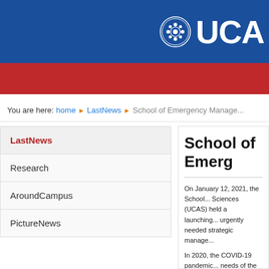[Figure (logo): UCAS university logo with circular emblem and 'UCA' text on blue header bar]
You are here: home ▶ LastNews ▶ School of Emergency Manage...
LastNews
Research
AroundCampus
PictureNews
School of Emerg...
On January 12, 2021, the School... Sciences (UCAS) held a launching... urgently needed strategic manage...
In 2020, the COVID-19 pandemic... needs of the country has become... a formation which li...